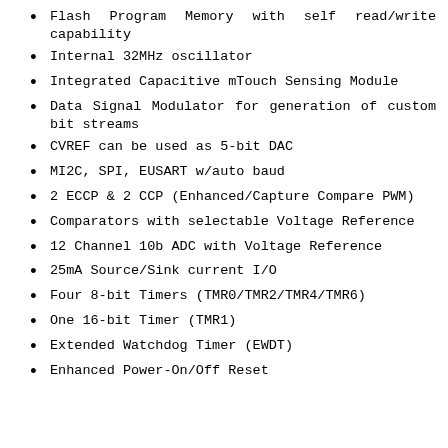Flash Program Memory with self read/write capability
Internal 32MHz oscillator
Integrated Capacitive mTouch Sensing Module
Data Signal Modulator for generation of custom bit streams
CVREF can be used as 5-bit DAC
MI2C, SPI, EUSART w/auto baud
2 ECCP & 2 CCP (Enhanced/Capture Compare PWM)
Comparators with selectable Voltage Reference
12 Channel 10b ADC with Voltage Reference
25mA Source/Sink current I/O
Four 8-bit Timers (TMR0/TMR2/TMR4/TMR6)
One 16-bit Timer (TMR1)
Extended Watchdog Timer (EWDT)
Enhanced Power-On/Off Reset